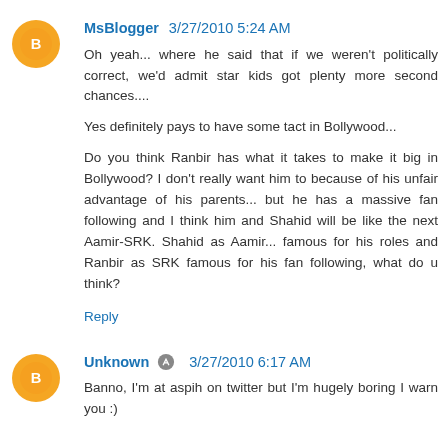MsBlogger 3/27/2010 5:24 AM
Oh yeah... where he said that if we weren't politically correct, we'd admit star kids got plenty more second chances....

Yes definitely pays to have some tact in Bollywood...

Do you think Ranbir has what it takes to make it big in Bollywood? I don't really want him to because of his unfair advantage of his parents... but he has a massive fan following and I think him and Shahid will be like the next Aamir-SRK. Shahid as Aamir... famous for his roles and Ranbir as SRK famous for his fan following, what do u think?

Reply
Unknown 3/27/2010 6:17 AM
Banno, I'm at aspih on twitter but I'm hugely boring I warn you :)